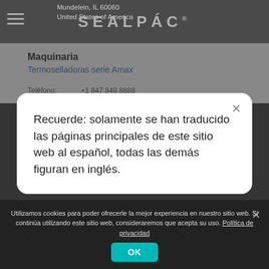Mundelein, IL 60060 | United States of America | SEALPÁC
Maquinaria
Termoselladoras serie Amax
Teléfono: +1 847 848 8888
Recuerde: solamente se han traducido las páginas principales de este sitio web al español, todas las demás figuran en inglés.
Contáctame por favor
Utilizamos cookies para poder ofrecerle la mejor experiencia en nuestro sitio web. Si continúa utilizando este sitio web, consideraremos que acepta su uso. Política de privacidad
OK